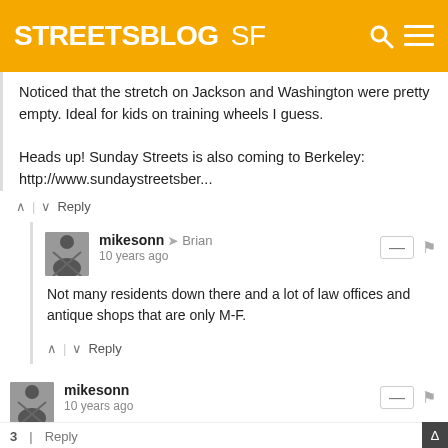STREETSBLOG SF
Noticed that the stretch on Jackson and Washington were pretty empty. Ideal for kids on training wheels I guess.

Heads up! Sunday Streets is also coming to Berkeley: http://www.sundaystreetsber...
Reply
mikesonn → Brian
10 years ago
Not many residents down there and a lot of law offices and antique shops that are only M-F.
Reply
mikesonn
10 years ago
Thank you for the write up. While saddened by the fact North Beach is not included, it will be an excellent event and highlights the need to make Grant Street car-free all the time.
3  Reply